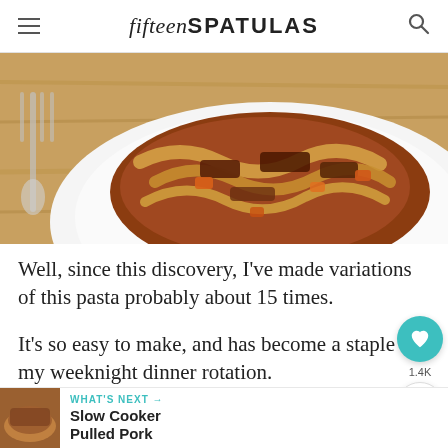fifteenSPATULAS
[Figure (photo): A white bowl plate with pasta topped with braised flank steak meat sauce and carrots, with a fork on a wooden table background]
Well, since this discovery, I’ve made variations of this pasta probably about 15 times.
It’s so easy to make, and has become a staple my weeknight dinner rotation.
Here’s what flank steak looks like